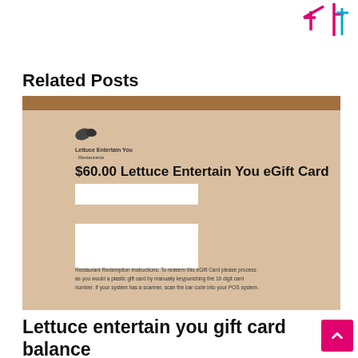[Figure (logo): Decorative logo or annotation marks in pink and blue at top right corner]
Related Posts
[Figure (photo): Photo of a $60.00 Lettuce Entertain You eGift Card printout showing the card number and PIN redacted, with restaurant redemption instructions visible at the bottom]
Lettuce entertain you gift card balance